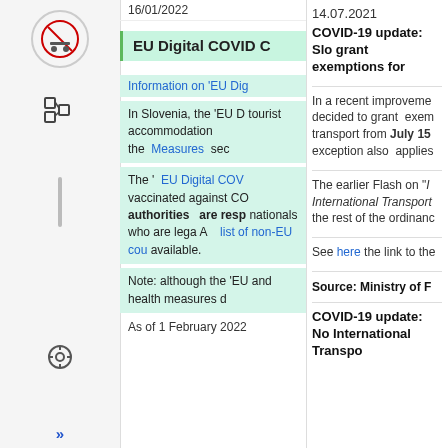16/01/2022
EU Digital COVID C
Information on 'EU Dig
In Slovenia, the 'EU D tourist accommodation the Measures sec
The ' EU Digital COV vaccinated against CO authorities are resp nationals who are lega A list of non-EU cou available.
Note: although the 'EU and health measures d
As of 1 February 2022
14.07.2021
COVID-19 update: Slo grant exemptions for
In a recent improveme decided to grant exem transport from July 15 exception also applies
The earlier Flash on " International Transport the rest of the ordinanc
See here the link to the
Source: Ministry of F
COVID-19 update: No International Transpo